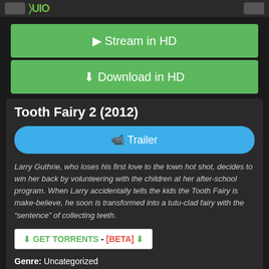Stream in HD / Download in HD buttons area
Stream in HD
Download in HD
Tooth Fairy 2 (2012)
Trailer
Larry Guthrie, who loses his first love to the town hot shot, decides to win her back by volunteering with the children at her after-school program. When Larry accidentally tells the kids the Tooth Fairy is make-believe, he soon is transformed into a tutu-clad fairy with the “sentence” of collecting teeth.
GET TORRENTS - [BETA]
Genre: Uncategorized
Duration: 90
Quality: HD
Release: 2012